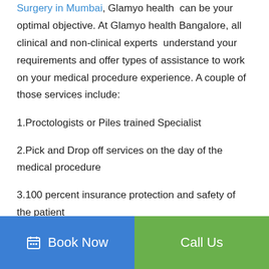Surgery in Mumbai, Glamyo health can be your optimal objective. At Glamyo health Bangalore, all clinical and non-clinical experts understand your requirements and offer types of assistance to work on your medical procedure experience. A couple of those services include:
1.Proctologists or Piles trained Specialist
2.Pick and Drop off services on the day of the medical procedure
3.100 percent insurance protection and safety of the patient
Book Now | Call Us